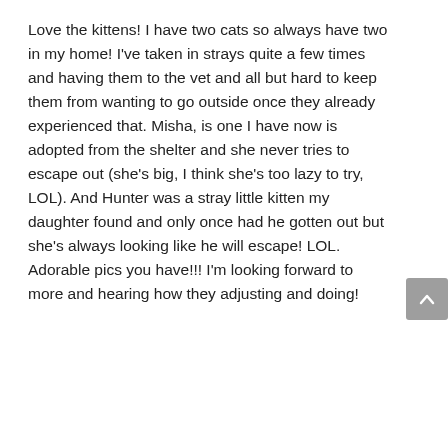Love the kittens! I have two cats so always have two in my home! I've taken in strays quite a few times and having them to the vet and all but hard to keep them from wanting to go outside once they already experienced that. Misha, is one I have now is adopted from the shelter and she never tries to escape out (she's big, I think she's too lazy to try, LOL). And Hunter was a stray little kitten my daughter found and only once had he gotten out but she's always looking like he will escape! LOL.
Adorable pics you have!!! I'm looking forward to more and hearing how they adjusting and doing!